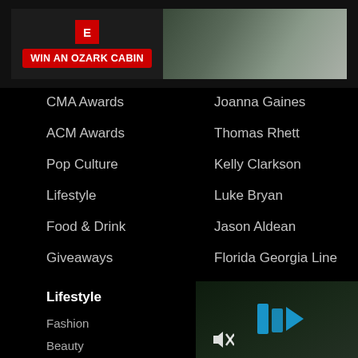[Figure (screenshot): Banner advertisement showing 'WIN AN OZARK CABIN' with red button and cabin photo on right]
CMA Awards
ACM Awards
Pop Culture
Lifestyle
Food & Drink
Giveaways
Joanna Gaines
Thomas Rhett
Kelly Clarkson
Luke Bryan
Jason Aldean
Florida Georgia Line
Keith Urban
Country Love Songs
Lifestyle
Fashion
Beauty
People
[Figure (screenshot): Video player thumbnail with blue play/pause icon overlay and mute icon, dark background with trees]